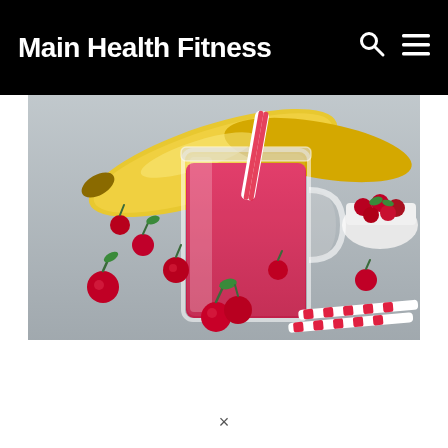Main Health Fitness
[Figure (photo): A glass mason jar mug filled with a bright pink/red fruit smoothie with a red and white striped straw, surrounded by fresh cherries scattered on a light gray surface, with yellow bananas in the background and a white bowl of cherries to the right.]
×